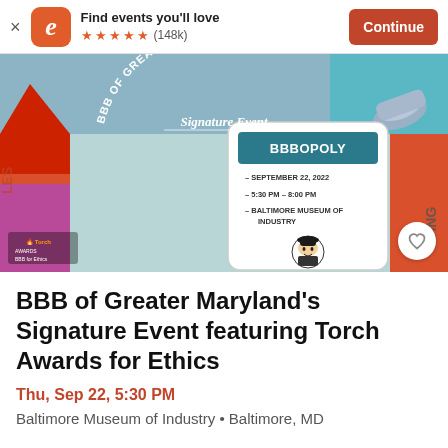Find events you'll love ★★★★★ (148k) Continue
[Figure (photo): BBB of Greater Maryland Signature Event BBBOPOLY promotional image on a Monopoly board background. Shows text: SEPTEMBER 22, 2022 · 5:30 PM – 8:00 PM · BALTIMORE MUSEUM OF INDUSTRY. Torch Awards BBB for Ethics logo in lower left.]
BBB of Greater Maryland's Signature Event featuring Torch Awards for Ethics
Thu, Sep 22, 5:30 PM
Baltimore Museum of Industry • Baltimore, MD